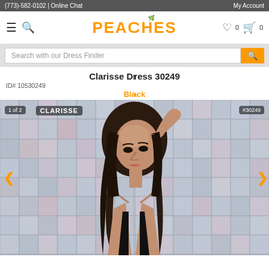(773)-582-0102 | Online Chat | My Account
[Figure (logo): PEACHES logo with orange text and small leaf/peach graphic above the A]
Search with our Dress Finder
Clarisse Dress 30249
ID# 10530249
Black
[Figure (photo): Fashion model with long dark hair, arm raised behind head, posed against a shimmering silver/iridescent mosaic tile background. Wearing a black dress. Image overlay shows '1 of 2', 'CLARISSE', and '#30249'.]